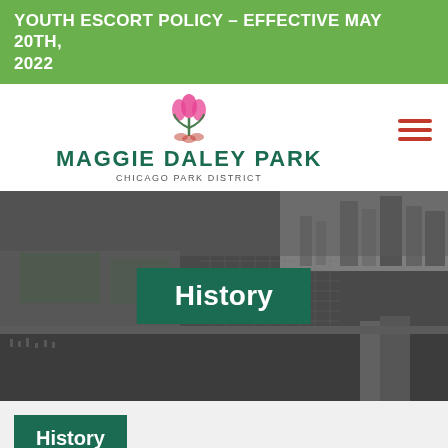YOUTH ESCORT POLICY – EFFECTIVE MAY 20TH, 2022
[Figure (logo): Maggie Daley Park tulip logo in pink and green with text 'MAGGIE DALEY PARK' and 'CHICAGO PARK DISTRICT']
[Figure (photo): Black and white aerial photograph of Chicago lakefront park area showing parkland, marina, and city skyline]
History
History